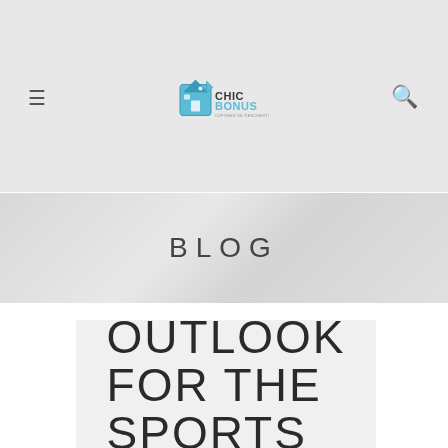ChicBonus – Blog
BLOG
OUTLOOK FOR THE SPORTS